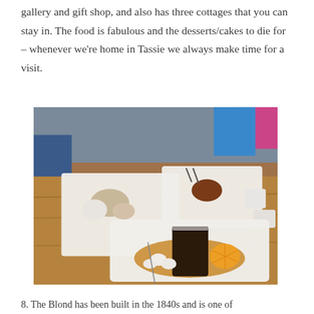gallery and gift shop, and also has three cottages that you can stay in. The food is fabulous and the desserts/cakes to die for – whenever we're home in Tassie we always make time for a visit.
[Figure (photo): Photo of desserts/cakes served on white square plates on a wooden table at a café or restaurant. Multiple plates visible with various desserts including what appears to be a chocolate cake with cream and orange slices in the foreground.]
8. The Blond has been built in the 1840s and is one of